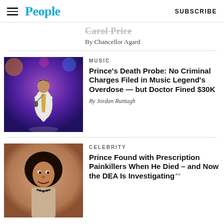People | SUBSCRIBE
Carol Price (partial, cut off)
By Chancellor Agard
MUSIC
Prince's Death Probe: No Criminal Charges Filed in Music Legend's Overdose — but Doctor Fined $30K
By Jordan Runtagh
[Figure (photo): Prince performing on stage holding a microphone, wearing a white jacket with gold accents, colorful stage lights in background]
CELEBRITY
Prince Found with Prescription Painkillers When He Died – and Now the DEA Is Investigating
[Figure (photo): Prince smiling with afro hairstyle, wearing a beaded necklace, vintage photo]